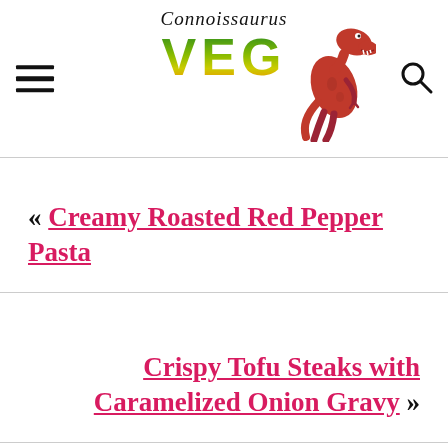Connoissaurus VEG
« Creamy Roasted Red Pepper Pasta
Crispy Tofu Steaks with Caramelized Onion Gravy »